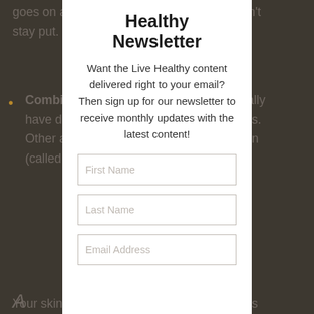goes on a … e it doesn't stay put.
Combinat… skin usually have dry s… ne cheeks. Other are… e and chin (called the…
Your skin typ… cs (thanks mom and da… hat stable over time. B… e, hormone levels, stress… t it. If you notice a cha… skin produces, y… specifically made to com…
Healthy Newsletter
Want the Live Healthy content delivered right to your email? Then sign up for our newsletter to receive monthly updates with the latest content!
First Name
Last Name
Email Address